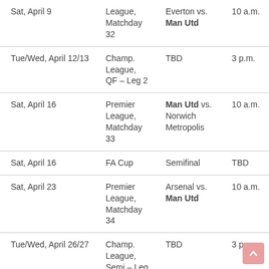| Date | Competition | Match | Time |
| --- | --- | --- | --- |
| Sat, April 9 | League, Matchday 32 | Everton vs. Man Utd | 10 a.m. |
| Tue/Wed, April 12/13 | Champ. League, QF – Leg 2 | TBD | 3 p.m. |
| Sat, April 16 | Premier League, Matchday 33 | Man Utd vs. Norwich Metropolis | 10 a.m. |
| Sat, April 16 | FA Cup | Semifinal | TBD |
| Sat, April 23 | Premier League, Matchday 34 | Arsenal vs. Man Utd | 10 a.m. |
| Tue/Wed, April 26/27 | Champ. League, Semi – Leg 1 | TBD | 3 p.m. |
|  | Premier |  |  |